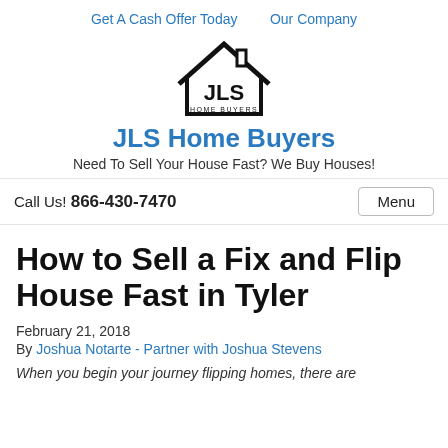Get A Cash Offer Today   Our Company
[Figure (logo): JLS Home Buyers logo — house outline with JLS text and HOME BUYERS below]
JLS Home Buyers
Need To Sell Your House Fast? We Buy Houses!
Call Us! 866-430-7470
How to Sell a Fix and Flip House Fast in Tyler
February 21, 2018
By Joshua Notarte - Partner with Joshua Stevens
When you begin your journey flipping homes, there are